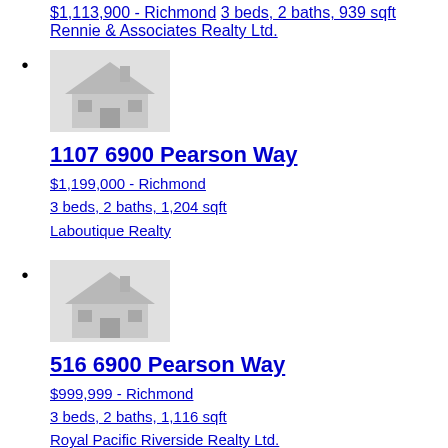$1,113,900 - Richmond
3 beds, 2 baths, 939 sqft
Rennie & Associates Realty Ltd.
[Figure (illustration): Gray house placeholder thumbnail image for 1107 6900 Pearson Way listing]
1107 6900 Pearson Way
$1,199,000 - Richmond
3 beds, 2 baths, 1,204 sqft
Laboutique Realty
[Figure (illustration): Gray house placeholder thumbnail image for 516 6900 Pearson Way listing]
516 6900 Pearson Way
$999,999 - Richmond
3 beds, 2 baths, 1,116 sqft
Royal Pacific Riverside Realty Ltd.